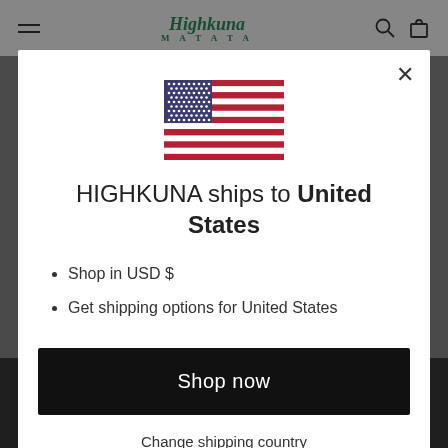Highkuna MATATA
[Figure (screenshot): Modal popup on e-commerce website showing US flag, shipping information, and shop now button]
HIGHKUNA ships to United States
Shop in USD $
Get shipping options for United States
Shop now
Change shipping country